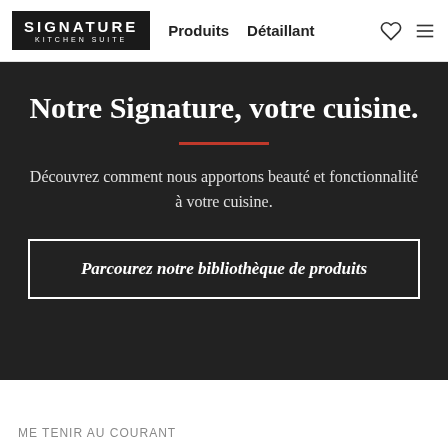Signature Kitchen Suite — Produits  Détaillant
Notre Signature, votre cuisine.
Découvrez comment nous apportons beauté et fonctionnalité à votre cuisine.
Parcourez notre bibliothèque de produits
ME TENIR AU COURANT